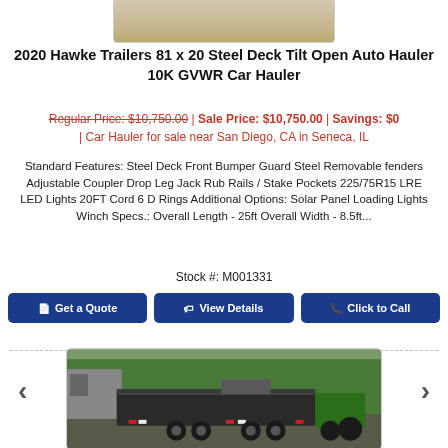[Figure (photo): Top partial image of a trailer or similar vehicle, cropped at the bottom of the viewport]
2020 Hawke Trailers 81 x 20 Steel Deck Tilt Open Auto Hauler 10K GVWR Car Hauler
Regular Price: $10,750.00 | Sale Price: $10,750.00 | Savings: $0 | Car Hauler for sale near San Diego, CA in Seneca, IL
Standard Features: Steel Deck Front Bumper Guard Steel Removable fenders Adjustable Coupler Drop Leg Jack Rub Rails / Stake Pockets 225/75R15 LRE LED Lights 20FT Cord 6 D Rings Additional Options: Solar Panel Loading Lights Winch Specs.: Overall Length - 25ft Overall Width - 8.5ft...
Stock #: M001331
Get a Quote | View Details | Click to Call
[Figure (photo): Photo of a dark-colored dump trailer parked outdoors with trees in the background, dual axle with ramps visible]